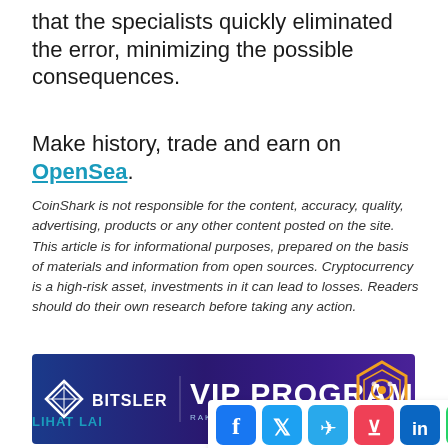that the specialists quickly eliminated the error, minimizing the possible consequences.
Make history, trade and earn on OpenSea.
CoinShark is not responsible for the content, accuracy, quality, advertising, products or any other content posted on the site. This article is for informational purposes, prepared on the basis of materials and information from open sources. Cryptocurrency is a high-risk asset, investments in it can lead to losses. Readers should do their own research before taking any action.
[Figure (infographic): Bitsler VIP Program advertisement banner with logo and hexagon decoration on dark blue/purple background. Text: BITSLER VIP PROGRAM RAKEBACK, CHEST REWARDS AND MUCH MORE]
LIHAT LA...
[Figure (infographic): Social media sharing icons row: Facebook, Twitter, Telegram, Pocket, LinkedIn, WhatsApp]